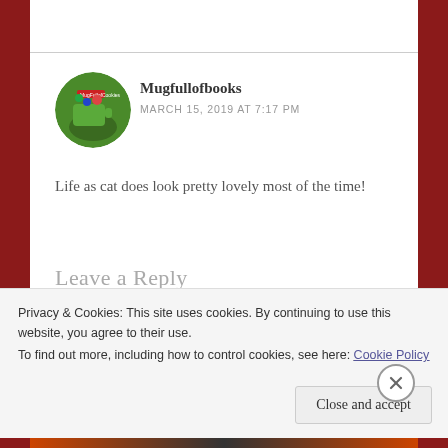Mugfullofbooks
MARCH 15, 2019 AT 7:17 PM
Life as cat does look pretty lovely most of the time!
Leave a Reply
Your email address will not be published. Required fields are marked *
Privacy & Cookies: This site uses cookies. By continuing to use this website, you agree to their use.
To find out more, including how to control cookies, see here: Cookie Policy